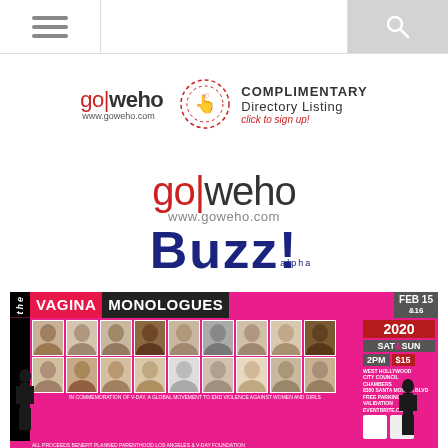[Figure (screenshot): Navigation bar with hamburger menu icon on the left, blank center area, and search icon on the right with gray background]
[Figure (logo): GoWeho.com logo with complimentary directory listing banner and hand click icon]
[Figure (logo): GoWeho Buzz! alpha logo - go|weho www.goweho.com text above large navy blue Buzz! text with alpha label]
[Figure (infographic): The Vagina Monologues event poster - Feb 15 & 16, 2020, SAT & SUN, 2PM, $15, West Hollywood City Council Chambers. Pink background with photos of performers. Benefit for Planned Parenthood LA. Co-sponsored by City of West Hollywood.]